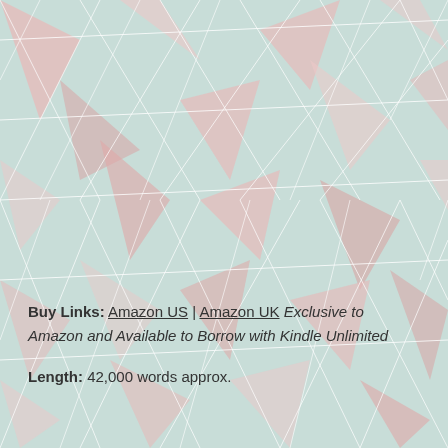[Figure (illustration): Geometric low-poly triangular pattern background in mint green and pale pink tones with white lines]
Buy Links: Amazon US | Amazon UK Exclusive to Amazon and Available to Borrow with Kindle Unlimited
Length: 42,000 words approx.